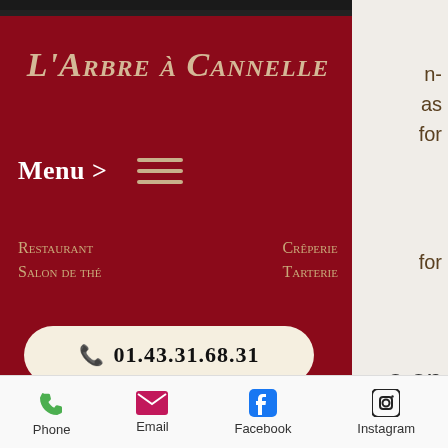[Figure (screenshot): Restaurant website screenshot showing L'Arbre à Cannelle header with dark red background, menu navigation, category labels (Restaurant, Salon de thé, Crêperie, Tarterie), and phone number button]
then when you cycle from you will also lose some of this fluid, and the end results are
Phone  Email  Facebook  Instagram